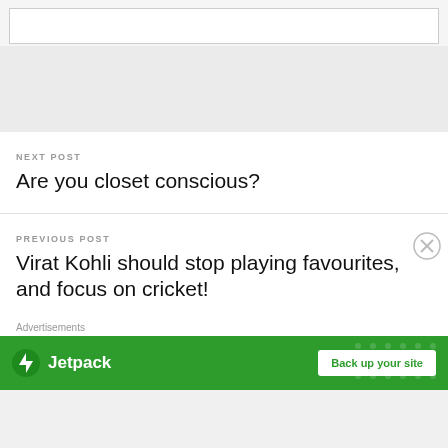[Figure (screenshot): Empty white input box / text field at the top of the page]
NEXT POST
Are you closet conscious?
PREVIOUS POST
Virat Kohli should stop playing favourites, and focus on cricket!
Advertisements
[Figure (screenshot): Jetpack advertisement banner with logo and 'Back up your site' button on green background]